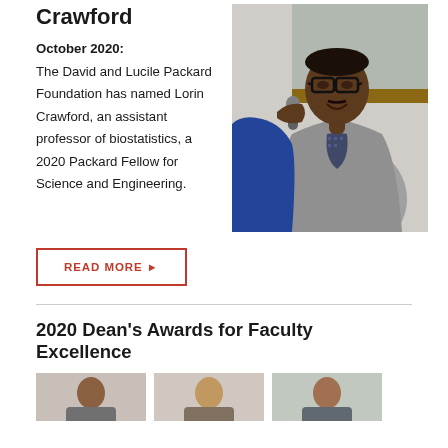Crawford
[Figure (photo): Photo of Lorin Crawford, a young Black man with glasses, smiling, holding a microphone in a lecture setting, wearing a grey cardigan over a patterned shirt]
October 2020: The David and Lucile Packard Foundation has named Lorin Crawford, an assistant professor of biostatistics, a 2020 Packard Fellow for Science and Engineering.
READ MORE ▶
2020 Dean's Awards for Faculty Excellence